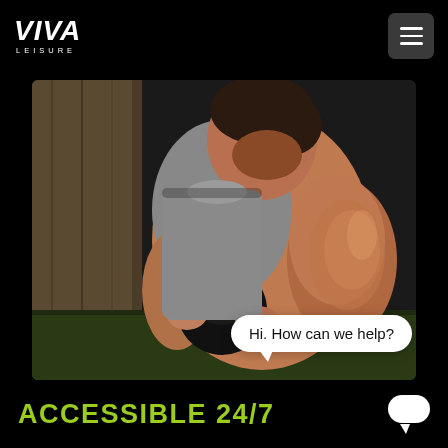VIVA LEISURE
[Figure (photo): A muscular man in a grey sleeveless shirt performing a kettlebell exercise in a dark gym setting. He is squatting while holding a black kettlebell with both hands close to his chest, wearing a smartwatch. Background shows a textured wall and dark gym floor.]
Hi. How can we help?
ACCESSIBLE 24/7